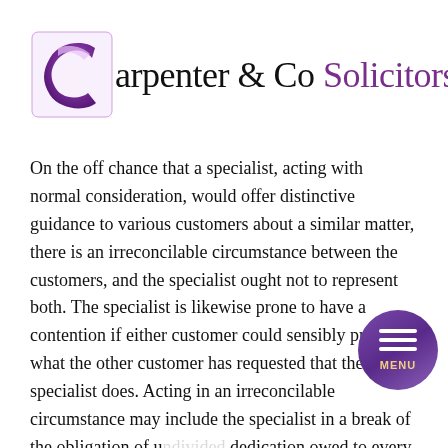[Figure (logo): Carpenter & Co Solicitors logo featuring a stylized purple letter C with gradient, followed by firm name in serif font with 'Solicitors' in purple]
On the off chance that a specialist, acting with normal consideration, would offer distinctive guidance to various customers about a similar matter, there is an irreconcilable circumstance between the customers, and the specialist ought not to represent both. The specialist is likewise prone to have a contention if either customer could sensibly protest what the other customer has requested that the specialist does. Acting in an irreconcilable circumstance may include the specialist in a break of the obligation of undivided dedication owed to every customer, a penetrate the obligation to make total honesty to every customer in a matter, or a break of the obligation of secrecy owed